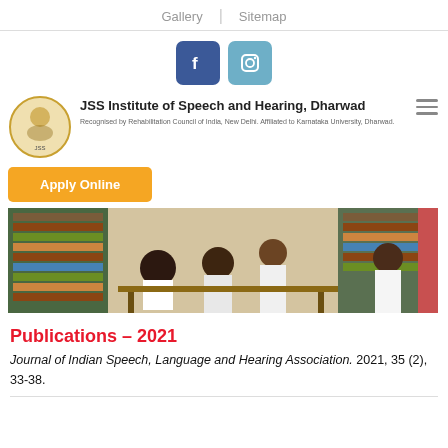Gallery | Sitemap
[Figure (other): Social media icons: Facebook and Instagram square buttons]
[Figure (logo): JSS Institute of Speech and Hearing, Dharwad logo with circular emblem]
JSS Institute of Speech and Hearing, Dharwad
Recognised by Rehabilitation Council of India, New Delhi. Affiliated to Karnataka University, Dharwad.
Apply Online
[Figure (photo): Students studying in a library with bookshelves in the background]
Publications – 2021
Journal of Indian Speech, Language and Hearing Association. 2021, 35 (2), 33-38.